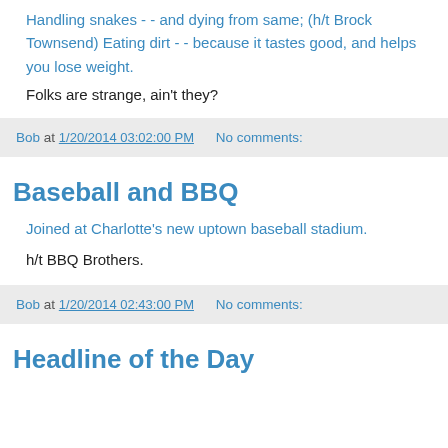Handling snakes - - and dying from same; (h/t Brock Townsend) Eating dirt - - because it tastes good, and helps you lose weight.
Folks are strange, ain't they?
Bob at 1/20/2014 03:02:00 PM   No comments:
Baseball and BBQ
Joined at Charlotte's new uptown baseball stadium.
h/t BBQ Brothers.
Bob at 1/20/2014 02:43:00 PM   No comments:
Headline of the Day